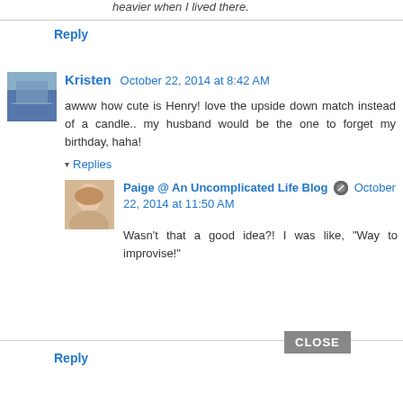heavier when I lived there.
Reply
Kristen  October 22, 2014 at 8:42 AM
awww how cute is Henry! love the upside down match instead of a candle.. my husband would be the one to forget my birthday, haha!
Reply
Replies
Paige @ An Uncomplicated Life Blog  October 22, 2014 at 11:50 AM
Wasn't that a good idea?! I was like, "Way to improvise!"
Reply